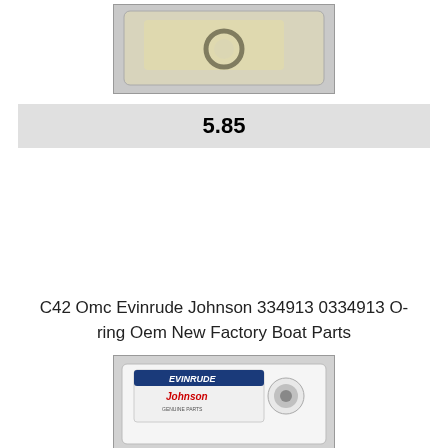[Figure (photo): Top photo showing a small O-ring part in a plastic bag on a light background]
5.85
C42 Omc Evinrude Johnson 334913 0334913 O-ring Oem New Factory Boat Parts
[Figure (photo): Bottom photo showing an Evinrude Johnson Genuine Parts labeled bag with a small O-ring on a white background]